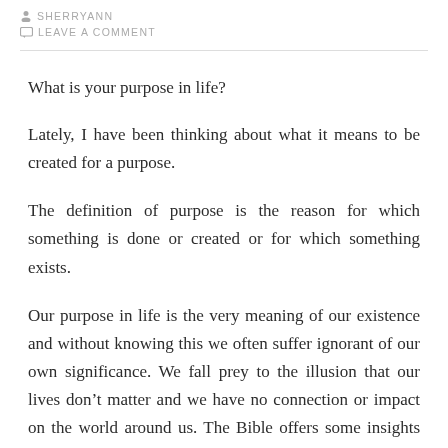SHERRYANN
LEAVE A COMMENT
What is your purpose in life?
Lately, I have been thinking about what it means to be created for a purpose.
The definition of purpose is the reason for which something is done or created or for which something exists.
Our purpose in life is the very meaning of our existence and without knowing this we often suffer ignorant of our own significance. We fall prey to the illusion that our lives don’t matter and we have no connection or impact on the world around us. The Bible offers some insights into our purpose...